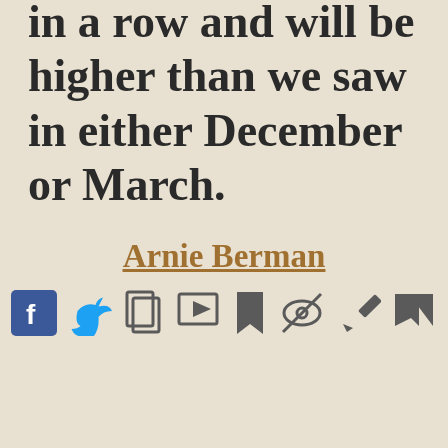in a row and will be higher than we saw in either December or March.
Arnie Berman
[Figure (other): Row of social media and action icons: Facebook, Twitter, copy, video, bookmark, hide, pen/edit, flag]
This website uses cookies to ensure you get the best experience on our website. Learn more Got it!